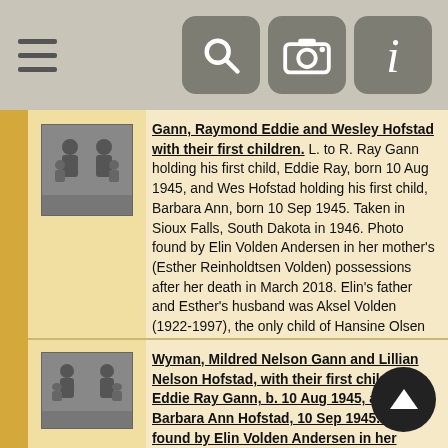[Figure (screenshot): Top navigation bar with hamburger menu icon on left and three icon buttons (search, camera, info) on right against grey background]
[Figure (photo): Small black and white photograph of two men holding babies]
Gann, Raymond Eddie and Wesley Hofstad with their first children. L. to R. Ray Gann holding his first child, Eddie Ray, born 10 Aug 1945, and Wes Hofstad holding his first child, Barbara Ann, born 10 Sep 1945. Taken in Sioux Falls, South Dakota in 1946. Photo found by Elin Volden Andersen in her mother's (Esther Reinholdtsen Volden) possessions after her death in March 2018. Elin's father and Esther's husband was Aksel Volden (1922-1997), the only child of Hansine Olsen (1896-1970), who was Elin's grandmother and Harold D. Nelson's sister.
[Figure (photo): Small black and white photograph of women with babies]
Wyman, Mildred Nelson Gann and Lillian Nelson Hofstad, with their first children: Eddie Ray Gann, b. 10 Aug 1945, and Barbara Ann Hofstad, 10 Sep 1945. Photo found by Elin Volden Andersen in her mother's (Esther Reinholdtsen Volden) possessions after her death in March 2018. Elin's father and Esther's husband...